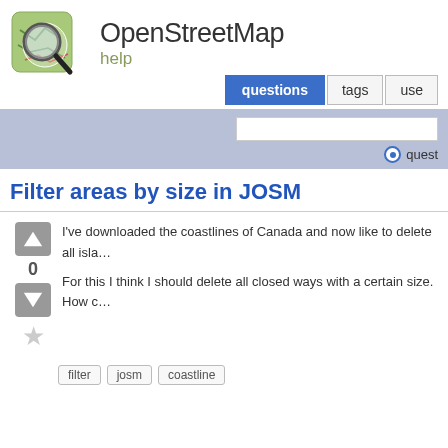[Figure (logo): OpenStreetMap logo: magnifying glass over a green map tile]
OpenStreetMap help
Filter areas by size in JOSM
I've downloaded the coastlines of Canada and now like to delete all islands…
For this I think I should delete all closed ways with a certain size. How c…
filter
josm
coastline